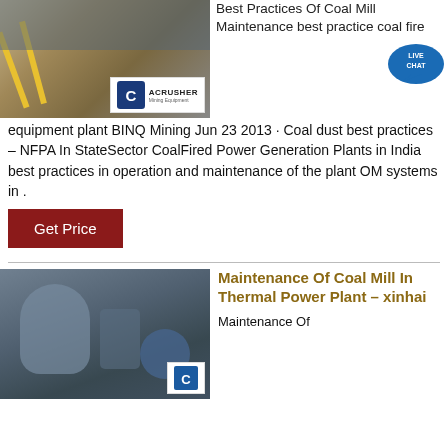[Figure (photo): Mining/construction site photo with ACRUSHER Mining Equipment logo overlay]
Best Practices Of Coal Mill Maintenance best practice coal fired equipment plant BINQ Mining Jun 23 2013 · Coal dust best practices – NFPA In StateSector CoalFired Power Generation Plants in India best practices in operation and maintenance of the plant OM systems in .
[Figure (illustration): Live Chat bubble icon overlay]
Get Price
[Figure (photo): Industrial coal mill / thermal power plant machinery photo with ACRUSHER logo overlay]
Maintenance Of Coal Mill In Thermal Power Plant – xinhai
Maintenance Of